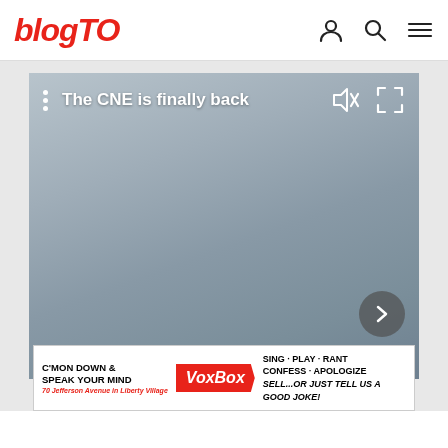blogTO
[Figure (screenshot): Video player showing a blurred/foggy scene with overlay text 'The CNE is finally back', mute icon, fullscreen icon, three-dots menu, and a next arrow button. Gray gradient background suggesting an outdoor scene.]
[Figure (other): Advertisement banner: C'MON DOWN & SPEAK YOUR MIND - VoxBox - SING PLAY RANT CONFESS APOLOGIZE SELL...or just tell us a good joke! 70 Jefferson Avenue in Liberty Village]